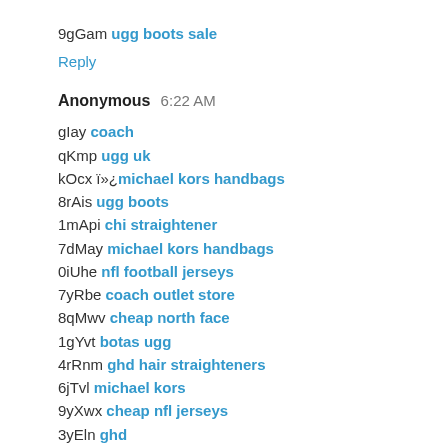9gGam ugg boots sale
Reply
Anonymous  6:22 AM
gIay coach
qKmp ugg uk
kOcx ï»¿michael kors handbags
8rAis ugg boots
1mApi chi straightener
7dMay michael kors handbags
0iUhe nfl football jerseys
7yRbe coach outlet store
8qMwv cheap north face
1gYvt botas ugg
4rRnm ghd hair straighteners
6jTvl michael kors
9yXwx cheap nfl jerseys
3yEln ghd
2oCws ugg store
Reply